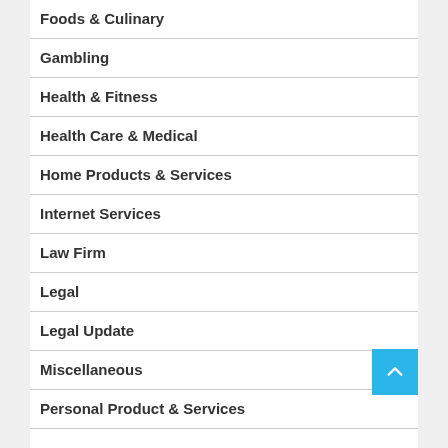Foods & Culinary
Gambling
Health & Fitness
Health Care & Medical
Home Products & Services
Internet Services
Law Firm
Legal
Legal Update
Miscellaneous
Personal Product & Services